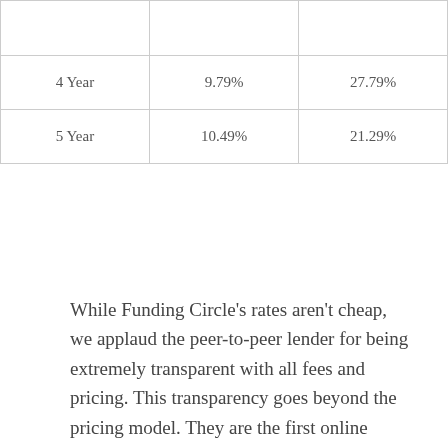|  |  |  |
| 4 Year | 9.79% | 27.79% |
| 5 Year | 10.49% | 21.29% |
While Funding Circle's rates aren't cheap, we applaud the peer-to-peer lender for being extremely transparent with all fees and pricing. This transparency goes beyond the pricing model. They are the first online lender we found that disclosed that even so-called 'soft' credit checks can affect credit rating for entities structured as General Partnerships.